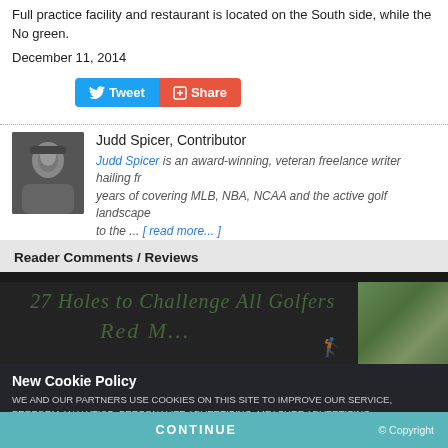Full practice facility and restaurant is located on the South side, while the No green.
December 11, 2014
[Figure (other): Tweet and Share social media buttons]
[Figure (photo): Author photo of Judd Spicer]
Judd Spicer, Contributor
Judd Spicer is an award-winning, veteran freelance writer hailing fr... years of covering MLB, NBA, NCAA and the active golf landscape to the ... [ read more... ]
Reader Comments / Reviews
New Cookie Policy
WE AND OUR PARTNERS USE COOKIES ON THIS SITE TO IMPROVE OUR SERVICE, PERFORM ANALYTICS, PERSONALIZE ADVERTISING, MEASURE ADVERTISING PERFORMANCE, AND REMEMBER WEBSITE PREFERENCES. BY USING THE SITE, YOU CONSENT TO THESE COOKIES. FOR MORE INFORMATION ON COOKIES INCLUDING HOW TO MANAGE YOUR CONSENT VISIT OUR COOKIE POLICY . | Terms of Use | Adi
CONTINUE
© Copyright